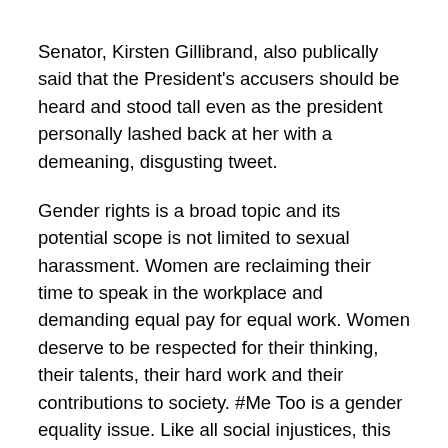Senator, Kirsten Gillibrand, also publically said that the President's accusers should be heard and stood tall even as the president personally lashed back at her with a demeaning, disgusting tweet.
Gender rights is a broad topic and its potential scope is not limited to sexual harassment. Women are reclaiming their time to speak in the workplace and demanding equal pay for equal work. Women deserve to be respected for their thinking, their talents, their hard work and their contributions to society. #Me Too is a gender equality issue. Like all social injustices, this can't be won without broad and sustained support. Make your voices heard, run for office, run in your communities...